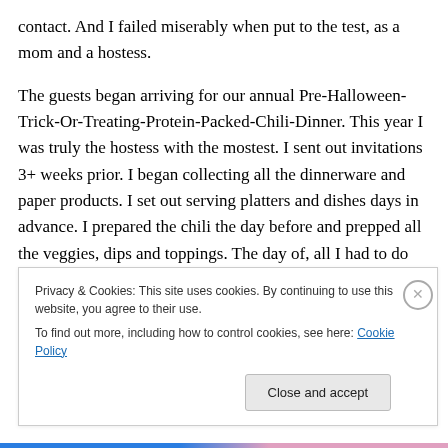contact. And I failed miserably when put to the test, as a mom and a hostess.
The guests began arriving for our annual Pre-Halloween-Trick-Or-Treating-Protein-Packed-Chili-Dinner. This year I was truly the hostess with the mostest. I sent out invitations 3+ weeks prior. I began collecting all the dinnerware and paper products. I set out serving platters and dishes days in advance. I prepared the chili the day before and prepped all the veggies, dips and toppings. The day of, all I had to do was warm the food and set
Privacy & Cookies: This site uses cookies. By continuing to use this website, you agree to their use.
To find out more, including how to control cookies, see here: Cookie Policy
Close and accept